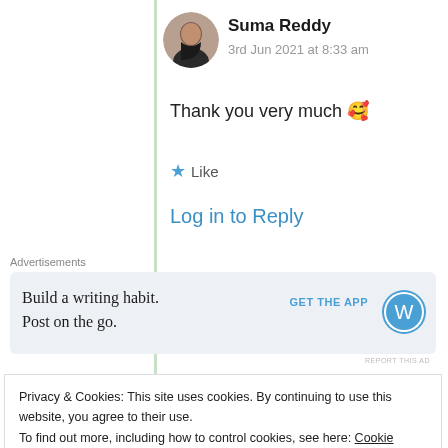Suma Reddy
3rd Jun 2021 at 8:33 am
Thank you very much 🥰
★ Like
Log in to Reply
Advertisements
[Figure (other): WordPress app advertisement: Build a writing habit. Post on the go. GET THE APP with WordPress logo]
REPORT THIS AD
Privacy & Cookies: This site uses cookies. By continuing to use this website, you agree to their use.
To find out more, including how to control cookies, see here: Cookie Policy
Close and accept
What an amazing piece on the destination and being